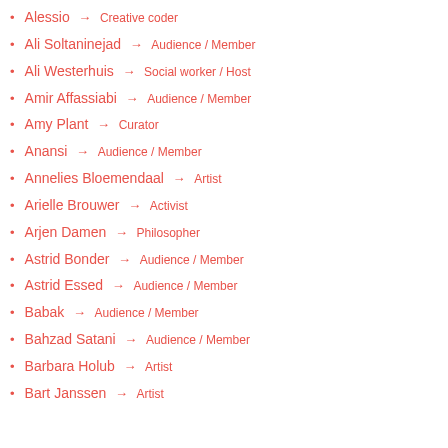Alessio → Creative coder
Ali Soltaninejad → Audience / Member
Ali Westerhuis → Social worker / Host
Amir Affassiabi → Audience / Member
Amy Plant → Curator
Anansi → Audience / Member
Annelies Bloemendaal → Artist
Arielle Brouwer → Activist
Arjen Damen → Philosopher
Astrid Bonder → Audience / Member
Astrid Essed → Audience / Member
Babak → Audience / Member
Bahzad Satani → Audience / Member
Barbara Holub → Artist
Bart Janssen → Artist